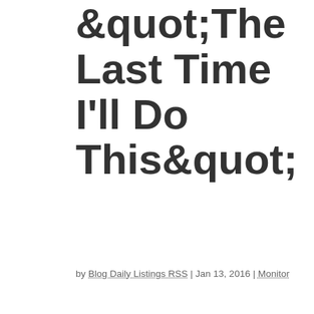&quot;The Last Time I'll Do This&quot;
by Blog Daily Listings RSS | Jan 13, 2016 | Monitor
the WHITE HOUSEPresident Barack Obama
Contact Us
Get Email Updates
[Figure (other): Broken image placeholder for Home link]
☰
Home
Briefing Room
From the News R...